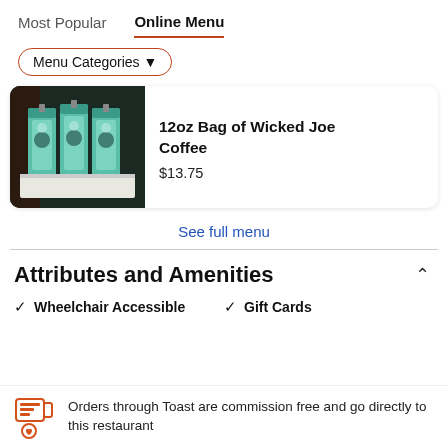Most Popular   Online Menu
Menu Categories ▼
[Figure (photo): Product photo showing three green bags of Wicked Joe Coffee displayed on a white surface against a dark background]
12oz Bag of Wicked Joe Coffee
$13.75
See full menu
Attributes and Amenities
✓ Wheelchair Accessible
✓ Gift Cards
Orders through Toast are commission free and go directly to this restaurant